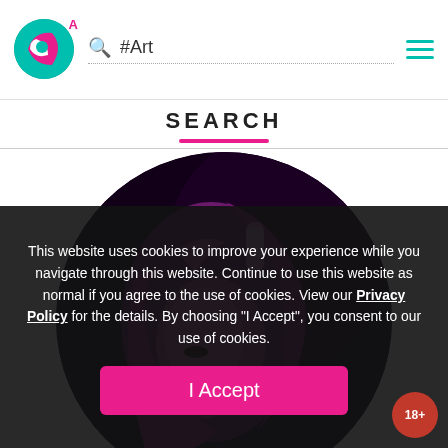A  #Art
SEARCH
[Figure (illustration): Circular cropped digital artwork showing an anime-style character with long purple/magenta hair wearing dark headphones, against a dark background]
This website uses cookies to improve your experience while you navigate through this website. Continue to use this website as normal if you agree to the use of cookies. View our Privacy Policy for the details. By choosing "I Accept", you consent to our use of cookies.
I Accept